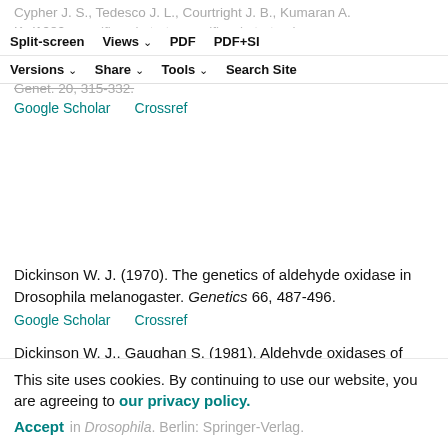Cypher J. S., Tedesco J. L., Courtright J. B., Kumaran A. K. (1982). Tissue specific substrate specificity and detection of aldehyde and pyridoxol oxidase in larval and imaginal discs of Drosophila melanogaster. Biochem. Genet. 20, 315-332.
Google Scholar   Crossref
Dickinson W. J. (1970). The genetics of aldehyde oxidase in Drosophila melanogaster. Genetics 66, 487-496.
Google Scholar   Crossref
Dickinson W. J., Gaughan S. (1981). Aldehyde oxidases of Drosophila: contributions of several enzymes to observed activity patterns. Biochem. Genet. 19, 567-583.
Google Scholar   Crossref
This site uses cookies. By continuing to use our website, you are agreeing to our privacy policy. Accept